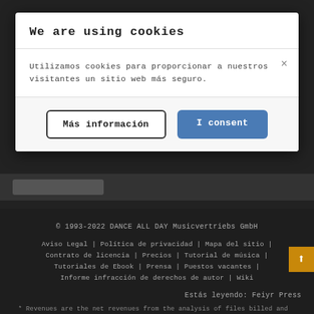We are using cookies
Utilizamos cookies para proporcionar a nuestros visitantes un sitio web más seguro.
Más información
I consent
© 1993-2022 DANCE ALL DAY Musicvertriebs GmbH
Aviso Legal | Política de privacidad | Mapa del sitio | Contrato de licencia | Precios | Tutorial de música | Tutoriales de Ebook | Prensa | Puestos vacantes | Informe infracción de derechos de autor | Wiki
Estás leyendo: Feiyr Press
* Revenues are the net revenues from the analysis of files billed and paid out by 3rd portals that have not been or will not be reclaimed due to incorrect billing or artificial plays.